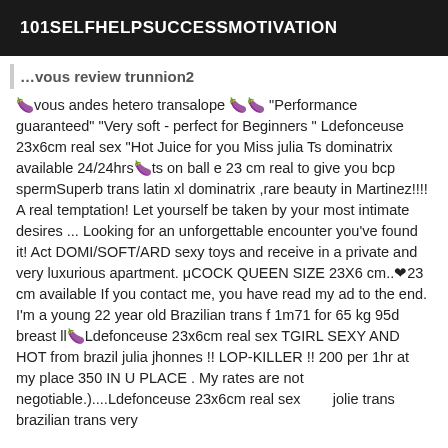101SELFHELPSUCCESSMOTIVATION
…vous review trunnion2
🍆vous andes hetero transalope 🍆🍆 "Performance guaranteed" "Very soft - perfect for Beginners " Ldefonceuse 23x6cm real sex "Hot Juice for you Miss julia Ts dominatrix available 24/24hrs🍆ts on ball e 23 cm real to give you bcp spermSuperb trans latin xl dominatrix ,rare beauty in Martinez!!!! A real temptation! Let yourself be taken by your most intimate desires ... Looking for an unforgettable encounter you've found it! Act DOMI/SOFT/ARD sexy toys and receive in a private and very luxurious apartment. μCOCK QUEEN SIZE 23X6 cm..❤23 cm available If you contact me, you have read my ad to the end. I'm a young 22 year old Brazilian trans f 1m71 for 65 kg 95d breast ll🍆Ldefonceuse 23x6cm real sex TGIRL SEXY AND HOT from brazil julia jhonnes !! LOP-KILLER !! 200 per 1hr at my place 350 IN U PLACE . My rates are not negotiable.)....Ldefonceuse 23x6cm real sex        jolie trans brazilian trans very